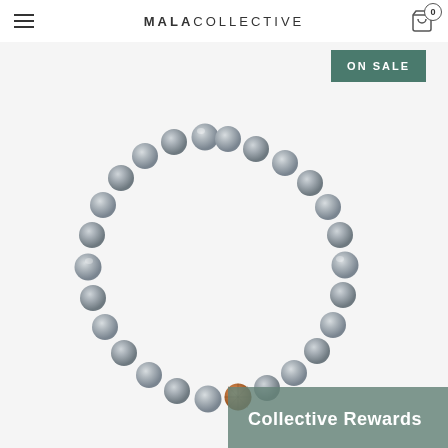MALACOLLECTIVE
ON SALE
[Figure (photo): A beaded bracelet made of round grey labradorite stones with one orange rudraksha bead accent, laid flat in a circular shape on a light background.]
Collective Rewards